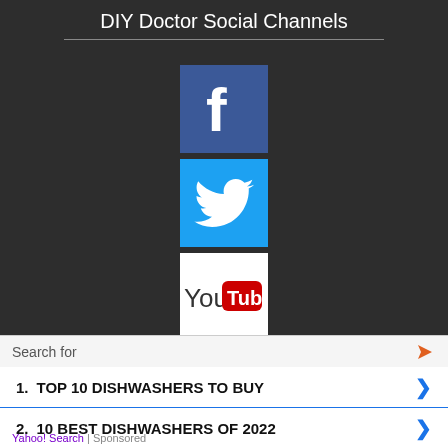DIY Doctor Social Channels
[Figure (logo): Facebook logo - white f on blue background]
[Figure (logo): Twitter logo - white bird on blue background]
[Figure (logo): YouTube logo - You Tube text on white background with red rectangle]
[Figure (logo): Pinterest logo - white P on red background]
[Figure (logo): Tumblr logo - white t on dark blue background]
Search for
1. TOP 10 DISHWASHERS TO BUY
2. 10 BEST DISHWASHERS OF 2022
Yahoo! Search | Sponsored